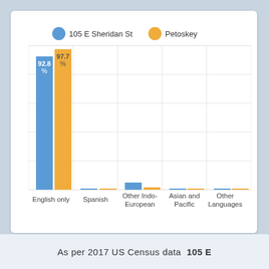[Figure (grouped-bar-chart): Language spoken at home]
As per 2017 US Census data 105 E